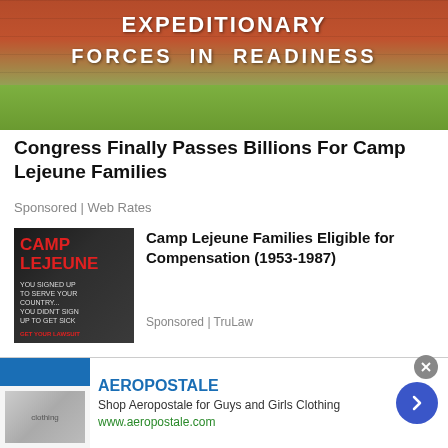[Figure (photo): Photo of a brick wall sign reading EXPEDITIONARY FORCES IN READINESS with grass in the foreground]
Congress Finally Passes Billions For Camp Lejeune Families
Sponsored | Web Rates
[Figure (photo): Book cover image for Camp Lejeune - YOU SIGNED UP TO SERVE YOUR COUNTRY... YOU DIDN'T SIGN UP TO GET SICK.]
Camp Lejeune Families Eligible for Compensation (1953-1987)
Sponsored | TruLaw
[Figure (photo): Aeropostale advertisement banner with clothing images]
AEROPOSTALE
Shop Aeropostale for Guys and Girls Clothing
www.aeropostale.com